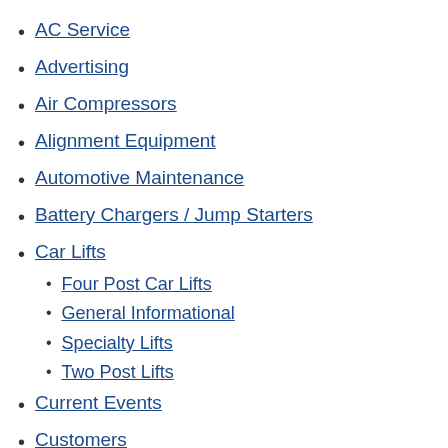AC Service
Advertising
Air Compressors
Alignment Equipment
Automotive Maintenance
Battery Chargers / Jump Starters
Car Lifts
Four Post Car Lifts
General Informational
Specialty Lifts
Two Post Lifts
Current Events
Customers
Informational
Jacks
Floor Jacks